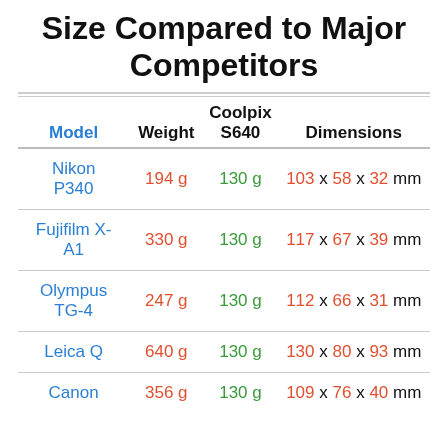Size Compared to Major Competitors
| Model | Weight | Coolpix S640 | Dimensions |
| --- | --- | --- | --- |
| Nikon P340 | 194 g | 130 g | 103 x 58 x 32 mm |
| Fujifilm X-A1 | 330 g | 130 g | 117 x 67 x 39 mm |
| Olympus TG-4 | 247 g | 130 g | 112 x 66 x 31 mm |
| Leica Q | 640 g | 130 g | 130 x 80 x 93 mm |
| Canon | 356 g | 130 g | 109 x 76 x 40 mm |